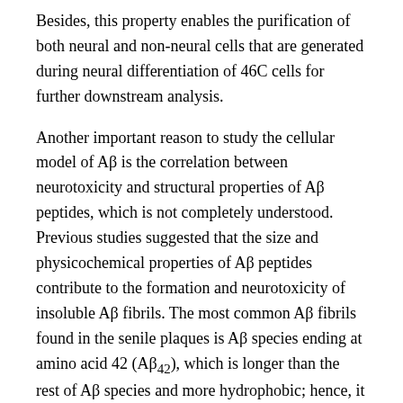Besides, this property enables the purification of both neural and non-neural cells that are generated during neural differentiation of 46C cells for further downstream analysis.
Another important reason to study the cellular model of Aβ is the correlation between neurotoxicity and structural properties of Aβ peptides, which is not completely understood. Previous studies suggested that the size and physicochemical properties of Aβ peptides contribute to the formation and neurotoxicity of insoluble Aβ fibrils. The most common Aβ fibrils found in the senile plaques is Aβ species ending at amino acid 42 (Aβ₄₂), which is longer than the rest of Aβ species and more hydrophobic; hence, it is more susceptible to aggregation and toxicity. Meanwhile, Aβ₄₀, which is more abundantly produced by the cells than Aβ₄₂, is commonly colocalized with Aβ₄₂ in the plaque [3, 26, 27]. Likewise, Aβ₂₅₋₃₅ fragment can also induce aggregation and toxicity similar to Aβ... [28]. The